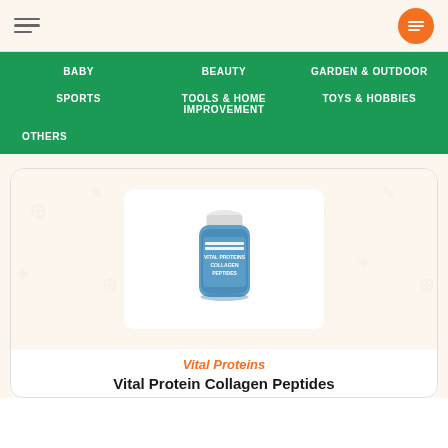Navigation header with hamburger menu and orange icon button
BABY
BEAUTY
GARDEN & OUTDOOR
SPORTS
TOOLS & HOME IMPROVEMENT
TOYS & HOBBIES
OTHERS
[Figure (photo): Vital Proteins Collagen Peptides supplement bottle with blue label]
Vital Proteins
Vital Protein Collagen Peptides